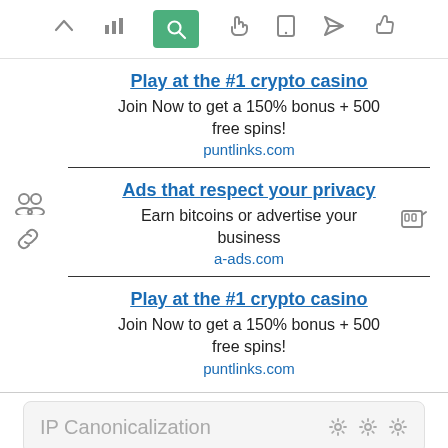[Figure (screenshot): Toolbar with navigation icons including up arrow, bar chart, search (active/green), hand, phone, send, and thumbs up icons]
[Figure (screenshot): Two side icons: group of people and a link/chain icon]
Play at the #1 crypto casino
Join Now to get a 150% bonus + 500 free spins!
puntlinks.com
Ads that respect your privacy
Earn bitcoins or advertise your business
a-ads.com
Play at the #1 crypto casino
Join Now to get a 150% bonus + 500 free spins!
puntlinks.com
IP Canonicalization
No your domain IP 151.101.66.28 does not redirect to tripadvisor.es